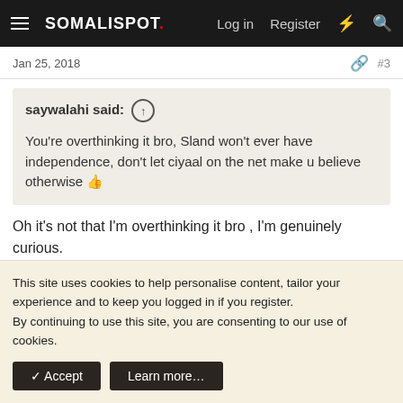SOMALISPOT. Log in Register
Jan 25, 2018 #3
saywalahi said: ↑ You're overthinking it bro, Sland won't ever have independence, don't let ciyaal on the net make u believe otherwise 👍
Oh it's not that I'm overthinking it bro , I'm genuinely curious. 👍 1
Haji
This site uses cookies to help personalise content, tailor your experience and to keep you logged in if you register.
By continuing to use this site, you are consenting to our use of cookies.